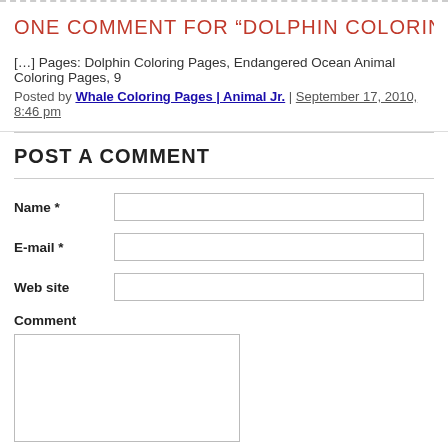ONE COMMENT FOR “DOLPHIN COLORING…”
[…] Pages: Dolphin Coloring Pages, Endangered Ocean Animal Coloring Pages, 9…
Posted by Whale Coloring Pages | Animal Jr. | September 17, 2010, 8:46 pm
POST A COMMENT
Name *
E-mail *
Web site
Comment